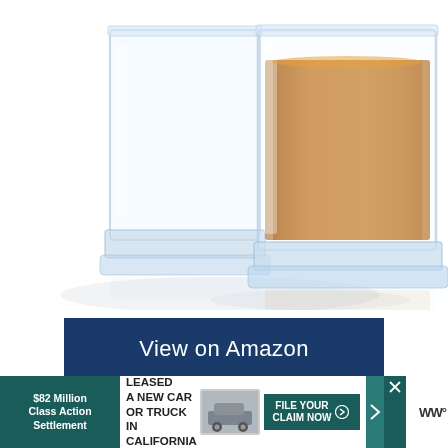[Figure (photo): Two square whiskey glasses, one empty and one filled with amber-colored whiskey, photographed on a white background with reflections]
View on Amazon
[Figure (other): White content box area with heart/favorites button (blue circle with heart icon) and share button]
[Figure (other): Advertisement banner: $82 Million Class Action Settlement - IF YOU BOUGHT OR LEASED A NEW CAR OR TRUCK IN CALIFORNIA FROM 2001 - 2003 - FILE YOUR CLAIM NOW]